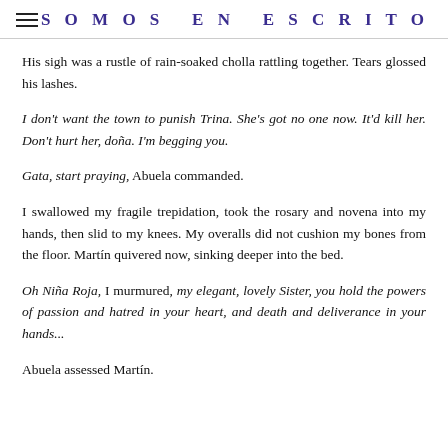SOMOS EN ESCRITO
His sigh was a rustle of rain-soaked cholla rattling together. Tears glossed his lashes.
I don't want the town to punish Trina. She's got no one now. It'd kill her. Don't hurt her, doña. I'm begging you.
Gata, start praying, Abuela commanded.
I swallowed my fragile trepidation, took the rosary and novena into my hands, then slid to my knees. My overalls did not cushion my bones from the floor. Martín quivered now, sinking deeper into the bed.
Oh Niña Roja, I murmured, my elegant, lovely Sister, you hold the powers of passion and hatred in your heart, and death and deliverance in your hands...
Abuela assessed Martín.